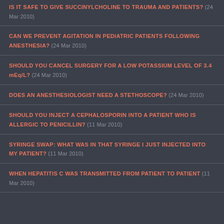IS IT SAFE TO GIVE SUCCINYLCHOLINE TO TRAUMA AND PATIENTS? (24 Mar 2010)
CAN WE PREVENT AGITATION IN PEDIATRIC PATIENTS FOLLOWING ANESTHESIA? (24 Mar 2010)
SHOULD YOU CANCEL SURGERY FOR A LOW POTASSIUM LEVEL OF 3.4 mEq/L? (24 Mar 2010)
DOES AN ANESTHESIOLOGIST NEED A STETHOSCOPE? (24 Mar 2010)
SHOULD YOU INJECT A CEPHALOSPORIN INTO A PATIENT WHO IS ALLERGIC TO PENICILLIN? (11 Mar 2010)
SYRINGE SWAP: WHAT WAS IN THAT SYRINGE I JUST INJECTED INTO MY PATIENT? (11 Mar 2010)
WHEN HEPATITIS C WAS TRANSMITTED FROM PATIENT TO PATIENT (11 Mar 2010)